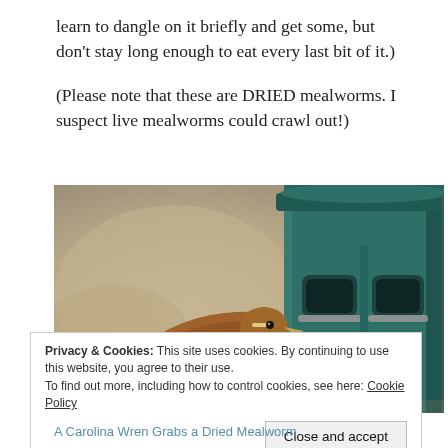learn to dangle on it briefly and get some, but don't stay long enough to eat every last bit of it.)
(Please note that these are DRIED mealworms. I suspect live mealworms could crawl out!)
[Figure (photo): A Carolina Wren bird in mid-flight approaching a teal/dark green cylindrical bird feeder with mesh openings, photographed against a blurred beige/tan background.]
Privacy & Cookies: This site uses cookies. By continuing to use this website, you agree to their use.
To find out more, including how to control cookies, see here: Cookie Policy
Close and accept
A Carolina Wren Grabs a Dried Mealworm